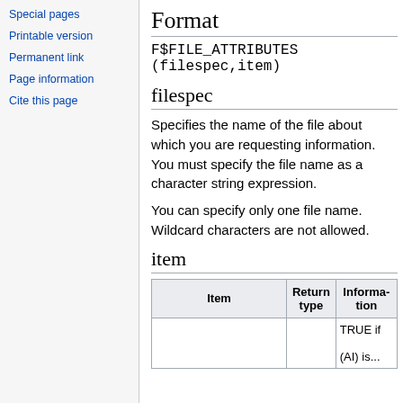Special pages
Printable version
Permanent link
Page information
Cite this page
Format
filespec
Specifies the name of the file about which you are requesting information. You must specify the file name as a character string expression.
You can specify only one file name. Wildcard characters are not allowed.
item
| Item | Return type | Information |
| --- | --- | --- |
|  |  | TRUE if
(AI) is... |